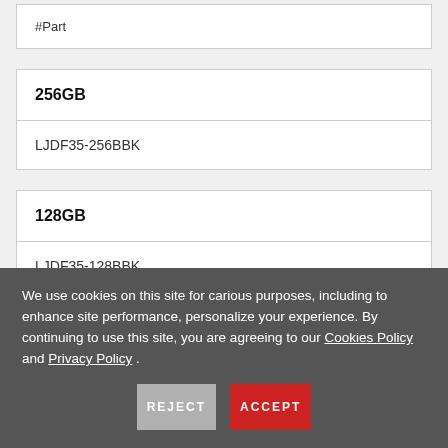#Part
256GB
LJDF35-256BBK
128GB
LJDF35-128BBK
We use cookies on this site for carious purposes, including to enhance site performance, personalize your experience. By continuing to use this site, you are agreeing to our Cookies Policy and Privacy Policy .
REJECT
ACCEPT